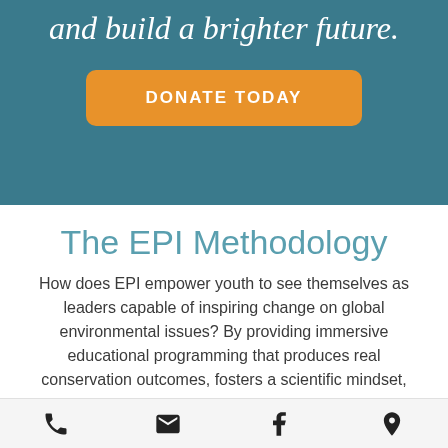and build a brighter future.
DONATE TODAY
The EPI Methodology
How does EPI empower youth to see themselves as leaders capable of inspiring change on global environmental issues? By providing immersive educational programming that produces real conservation outcomes, fosters a scientific mindset,